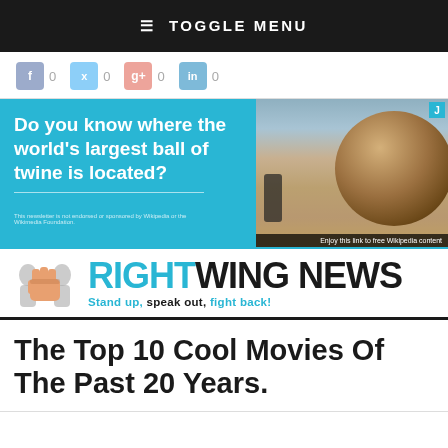≡ TOGGLE MENU
[Figure (screenshot): Social share buttons row: Facebook 0, Twitter 0, Google+ 0, LinkedIn 0]
[Figure (infographic): Advertisement banner: 'Do you know where the world's largest ball of twine is located?' with photo of large twine ball. Bottom text: 'Enjoy this link to free Wikipedia content']
[Figure (logo): RightWing News logo with fist icon. Tagline: Stand up, speak out, fight back!]
The Top 10 Cool Movies Of The Past 20 Years.